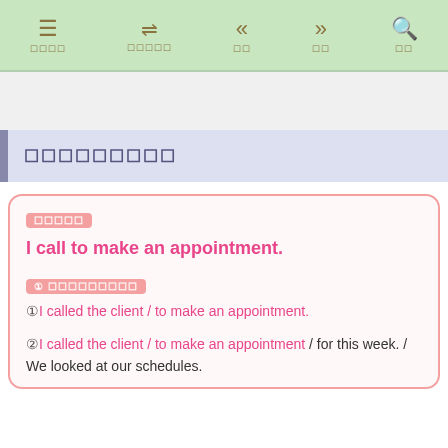メニュー　ナビゲーション　前へ　次へ　検索
□□□□□□□□□
□□□□□
I call to make an appointment.
① □□□□□□□□□
①I called the client / to make an appointment.
②I called the client / to make an appointment / for this week. / We looked at our schedules.